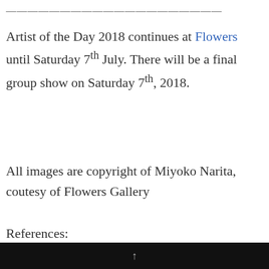Artist of the Day 2018 continues at Flowers until Saturday 7th July. There will be a final group show on Saturday 7th, 2018.
All images are copyright of Miyoko Narita, coutesy of Flowers Gallery
References:
Scruton, R. (1983), ‘Photography and Representation’ in his, The Aesthetic Understanding, London: Methuen, 1983
↑